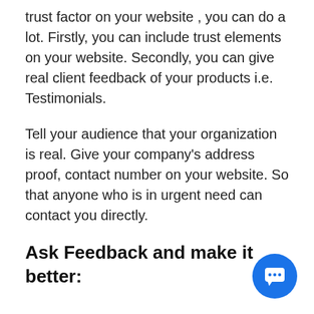trust factor on your website , you can do a lot. Firstly, you can include trust elements on your website. Secondly, you can give real client feedback of your products i.e. Testimonials.
Tell your audience that your organization is real. Give your company’s address proof, contact number on your website. So that anyone who is in urgent need can contact you directly.
Ask Feedback and make it better:
[Figure (other): Blue circular chat/messaging button icon in bottom right corner]